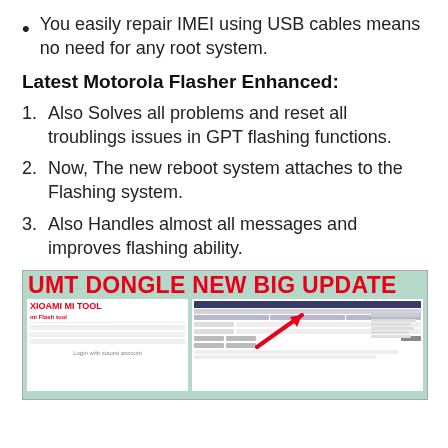You easily repair IMEI using USB cables means no need for any root system.
Latest Motorola Flasher Enhanced:
1. Also Solves all problems and reset all troublings issues in GPT flashing functions.
2. Now, The new reboot system attaches to the Flashing system.
3. Also Handles almost all messages and improves flashing ability.
[Figure (screenshot): Screenshot showing UMT DONGLE NEW BIG UPDATE banner with XIOAMI MI TOOL text on left side and a software interface screenshot on the right side, with a red arrow annotation.]